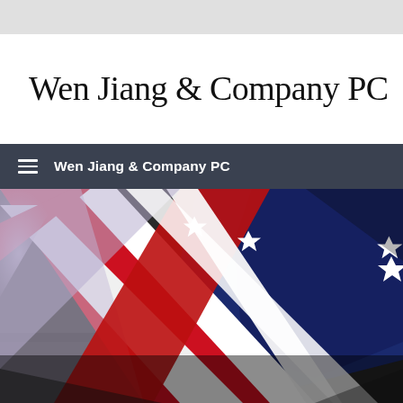Wen Jiang & Company PC
Wen Jiang & Company PC
[Figure (photo): A folded American flag with red, white, and blue stripes and white stars on a dark background, photographed close-up.]